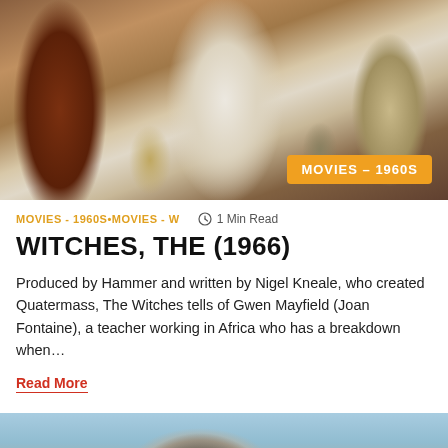[Figure (photo): Movie still from The Witches (1966), showing a woman in a white dress surrounded by people in a ritual setting]
MOVIES - 1960S • MOVIES - W  🕐 1 Min Read
WITCHES, THE (1966)
Produced by Hammer and written by Nigel Kneale, who created Quatermass, The Witches tells of Gwen Mayfield (Joan Fontaine), a teacher working in Africa who has a breakdown when…
Read More
[Figure (photo): Movie still showing a person wearing a black hat, with a building visible in the background, and a red upward arrow button overlay]